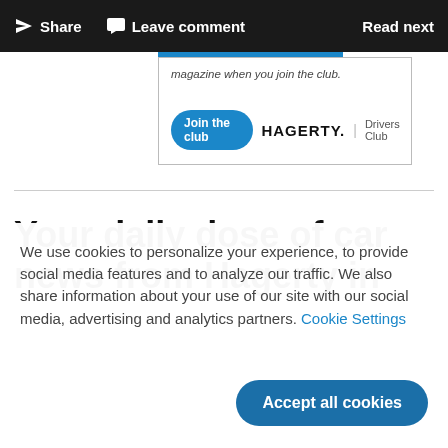Share  Leave comment  Read next
magazine when you join the club.
[Figure (logo): Hagerty Drivers Club join button and logo]
Your daily dose of car news from Hagerty in
We use cookies to personalize your experience, to provide social media features and to analyze our traffic. We also share information about your use of our site with our social media, advertising and analytics partners. Cookie Settings
Accept all cookies